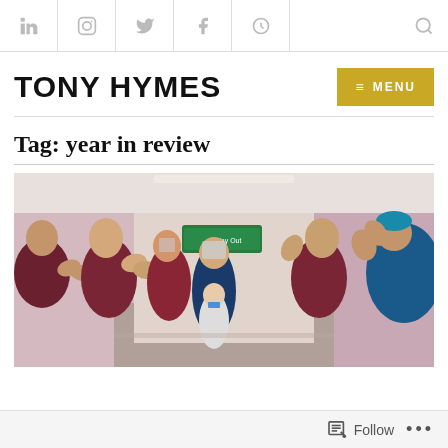LinkedIn | Instagram | Twitter | Facebook | Other | Search
TONY HYMES
Tag: year in review
[Figure (photo): Healthcare workers in hospital corridor wearing scrubs and PPE applauding a patient walking through, with a green Way Out exit sign visible in the background.]
Follow ...